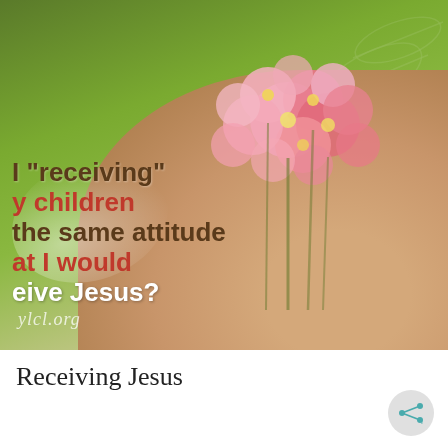[Figure (photo): A photo of hands holding pink cherry blossom flowers against a green background, with overlaid text reading: I 'receiving' y children the same attitude at I would eive Jesus? with a watermark ylcl.org]
Receiving Jesus